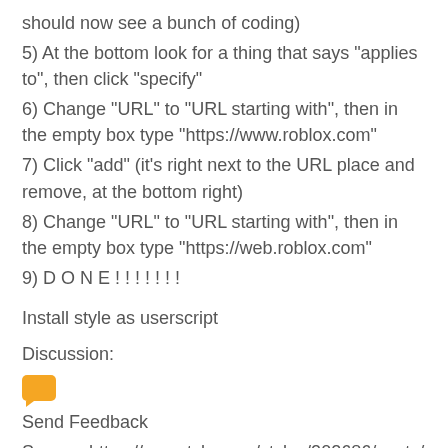should now see a bunch of coding)
5) At the bottom look for a thing that says "applies to", then click "specify"
6) Change "URL" to "URL starting with", then in the empty box type "https://www.roblox.com"
7) Click "add" (it's right next to the URL place and remove, at the bottom right)
8) Change "URL" to "URL starting with", then in the empty box type "https://web.roblox.com"
9) D O N E ! ! ! ! ! ! !
Install style as userscript
Discussion:
[Figure (illustration): Orange chat bubble icon]
Send Feedback
Source: https://userstyles.org/styles/202686/posts/